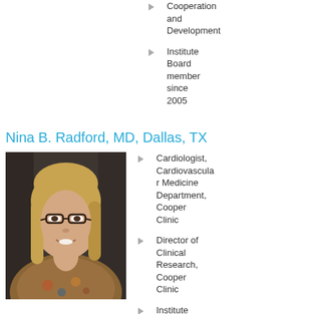Cooperation and Development
Institute Board member since 2005
Nina B. Radford, MD, Dallas, TX
[Figure (photo): Professional headshot of Nina B. Radford, MD — a woman with shoulder-length blonde hair, glasses, smiling, wearing a floral top, against a dark background.]
Cardiologist, Cardiovascular Medicine Department, Cooper Clinic
Director of Clinical Research, Cooper Clinic
Institute Board